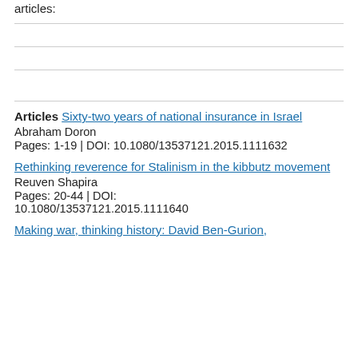articles:
Articles Sixty-two years of national insurance in Israel
Abraham Doron
Pages: 1-19 | DOI: 10.1080/13537121.2015.1111632
Rethinking reverence for Stalinism in the kibbutz movement
Reuven Shapira
Pages: 20-44 | DOI: 10.1080/13537121.2015.1111640
Making war, thinking history: David Ben-Gurion,